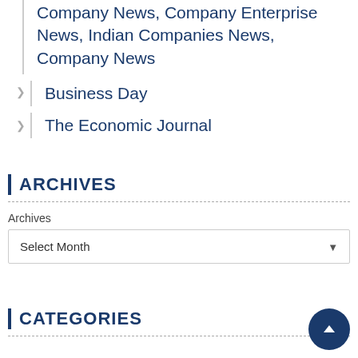Company News, Company Enterprise News, Indian Companies News, Company News
Business Day
The Economic Journal
ARCHIVES
Archives
Select Month
CATEGORIES